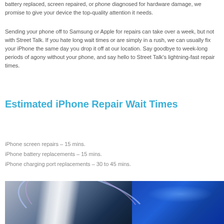battery replaced, screen repaired, or phone diagnosed for hardware damage, we promise to give your device the top-quality attention it needs.
Sending your phone off to Samsung or Apple for repairs can take over a week, but not with Street Talk. If you hate long wait times or are simply in a rush, we can usually fix your iPhone the same day you drop it off at our location. Say goodbye to week-long periods of agony without your phone, and say hello to Street Talk’s lightning-fast repair times.
Estimated iPhone Repair Wait Times
iPhone screen repairs – 15 mins.
iPhone battery replacements – 15 mins.
iPhone charging port replacements – 30 to 45 mins.
[Figure (photo): Photo showing glowing arc/light effect with blue metallic background, likely a phone repair shop or device photo]